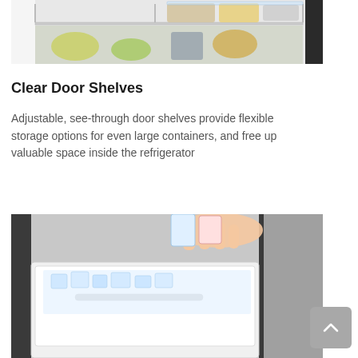[Figure (photo): Close-up photo of refrigerator interior showing clear door shelves with food items including vegetables and containers]
Clear Door Shelves
Adjustable, see-through door shelves provide flexible storage options for even large containers, and free up valuable space inside the refrigerator
[Figure (photo): Photo of refrigerator freezer drawer being opened, showing ice tray and frozen items inside, with a hand placing items in]